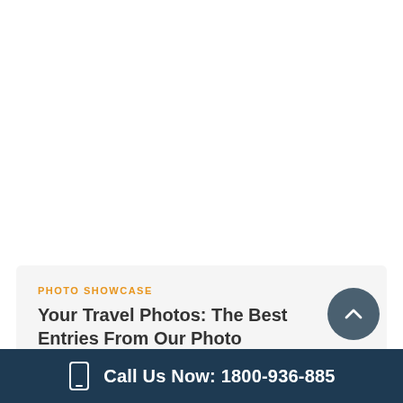PHOTO SHOWCASE
Your Travel Photos: The Best Entries From Our Photo Competition (6 minute read)
MAY 20, 2022 · BEN BROMLEY
Call Us Now: 1800-936-885